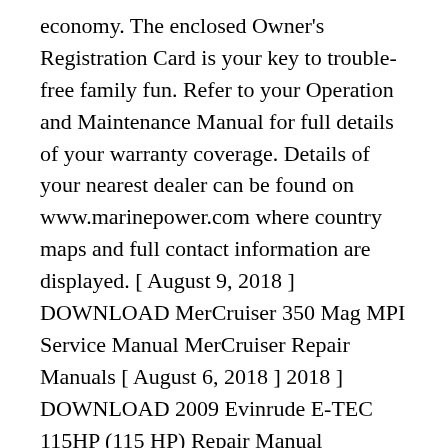economy. The enclosed Owner's Registration Card is your key to trouble-free family fun. Refer to your Operation and Maintenance Manual for full details of your warranty coverage. Details of your nearest dealer can be found on www.marinepower.com where country maps and full contact information are displayed. [ August 9, 2018 ] DOWNLOAD MerCruiser 350 Mag MPI Service Manual MerCruiser Repair Manuals [ August 6, 2018 ] 2018 ] DOWNLOAD 2009 Evinrude E-TEC 115HP (115 HP) Repair Manual Evinrude E-Tec Repair Manuals Search for: Home Mercury Outboard Repair Manuals DOWNLOAD Mercury Outboard Repair Manual (1964-2005 Models)
Owner's Resources. Boat House Bulletins See for